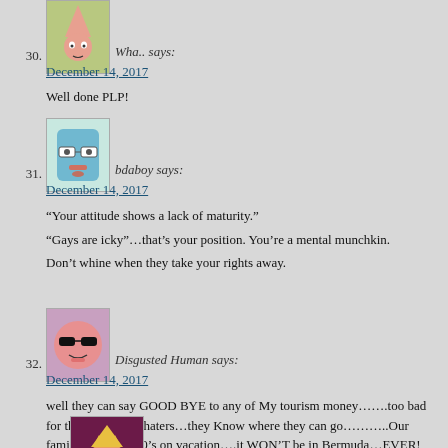30. Wha.. says: December 14, 2017
Well done PLP!
31. bdaboy says: December 14, 2017
“Your attitude shows a lack of maturity.”
“Gays are icky”…that’s your position. You’re a mental munchkin.
Don’t whine when they take your rights away.
32. Disgusted Human says: December 14, 2017
well they can say GOOD BYE to any of My tourism money…….too bad for the BIgots and haters…they Know where they can go………..Our family spends 1000’s on vacation….it WON’T be in Bermuda…EVER!